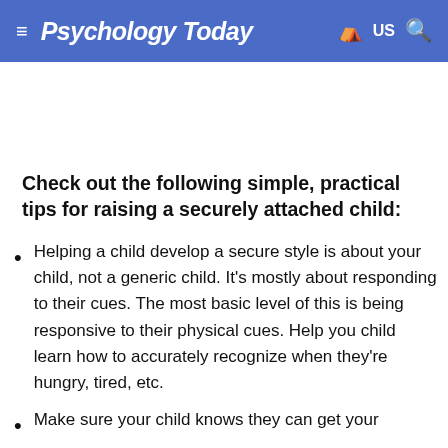Psychology Today   US
Check out the following simple, practical tips for raising a securely attached child:
Helping a child develop a secure style is about your child, not a generic child. It's mostly about responding to their cues. The most basic level of this is being responsive to their physical cues. Help you child learn how to accurately recognize when they're hungry, tired, etc.
Make sure your child knows they can get your